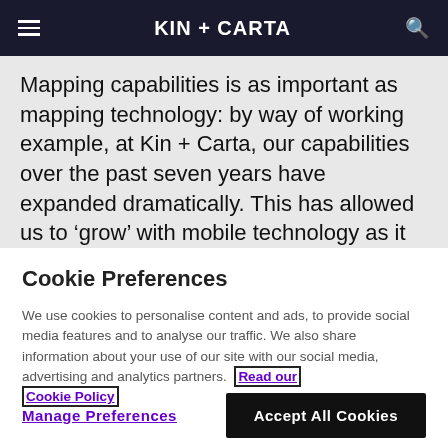KIN + CARTA
Mapping capabilities is as important as mapping technology: by way of working example, at Kin + Carta, our capabilities over the past seven years have expanded dramatically. This has allowed us to ‘grow’ with mobile technology as it becomes increasingly distributed. This means we can deliver everything beneath the ‘tip of the
Cookie Preferences
We use cookies to personalise content and ads, to provide social media features and to analyse our traffic. We also share information about your use of our site with our social media, advertising and analytics partners. Read our Cookie Policy
Manage Preferences
Accept All Cookies